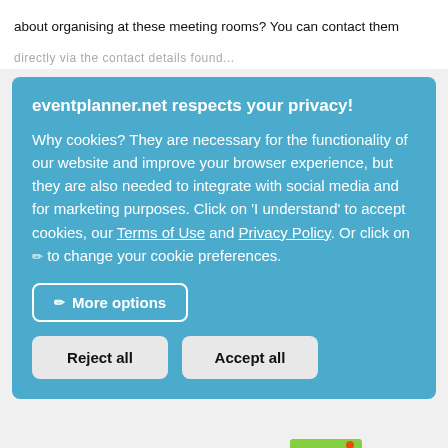about organising at these meeting rooms? You can contact them directly via the contact details found...
eventplanner.net respects your privacy!
Why cookies? They are necessary for the functionality of our website and improve your browser experience, but they are also needed to integrate with social media and for marketing purposes. Click on 'I understand' to accept cookies, our Terms of Use and Privacy Policy. Or click on ✏ to change your cookie preferences.
More options
Reject all
Accept all
[Figure (logo): eventplanner.net logo — green and white square logo with text]